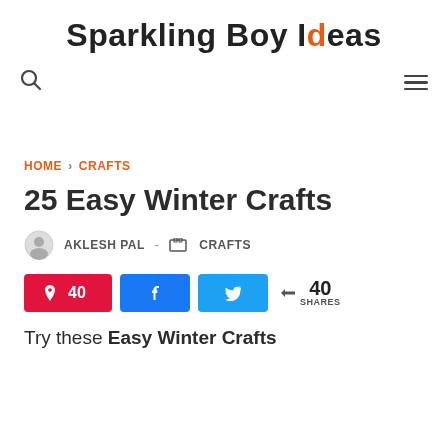Sparkling Boy Ideas
HOME › CRAFTS
25 Easy Winter Crafts
AKLESH PAL - CRAFTS
40 SHARES (Pinterest 40, Facebook share, Twitter share)
Try these Easy Winter Crafts